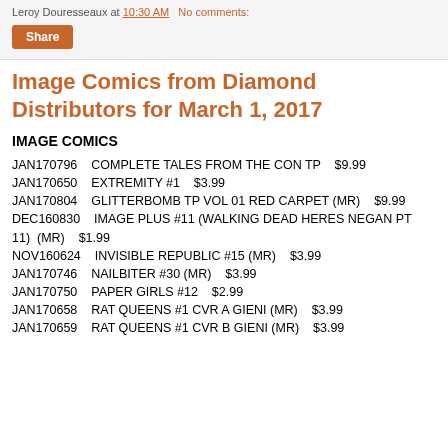Leroy Douresseaux at 10:30 AM   No comments:
Share
Image Comics from Diamond Distributors for March 1, 2017
IMAGE COMICS
JAN170796    COMPLETE TALES FROM THE CON TP   $9.99
JAN170650    EXTREMITY #1    $3.99
JAN170804    GLITTERBOMB TP VOL 01 RED CARPET (MR)    $9.99
DEC160830    IMAGE PLUS #11 (WALKING DEAD HERES NEGAN PT 11)  (MR)    $1.99
NOV160624    INVISIBLE REPUBLIC #15 (MR)    $3.99
JAN170746    NAILBITER #30 (MR)    $3.99
JAN170750    PAPER GIRLS #12    $2.99
JAN170658    RAT QUEENS #1 CVR A GIENI (MR)    $3.99
JAN170659    RAT QUEENS #1 CVR B GIENI (MR)    $3.99